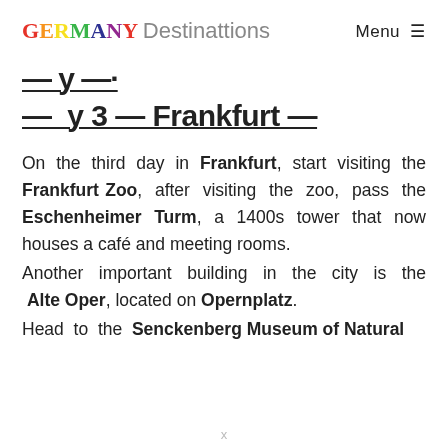GERMANY Destinations   Menu ≡
— Day 3 — Frankfurt —
On the third day in Frankfurt, start visiting the Frankfurt Zoo, after visiting the zoo, pass the Eschenheimer Turm, a 1400s tower that now houses a café and meeting rooms.
Another important building in the city is the Alte Oper, located on Opernplatz.
Head to the Senckenberg Museum of Natural